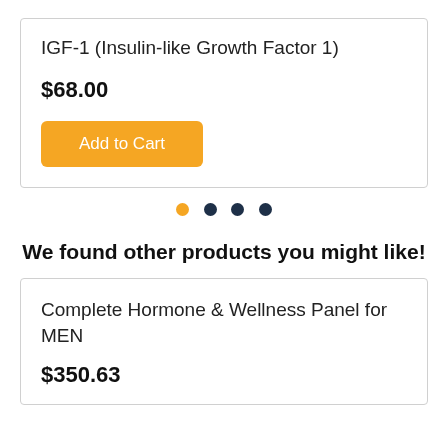IGF-1 (Insulin-like Growth Factor 1)
$68.00
Add to Cart
[Figure (other): Carousel pagination dots: one orange dot and three dark navy dots]
We found other products you might like!
Complete Hormone & Wellness Panel for MEN
$350.63